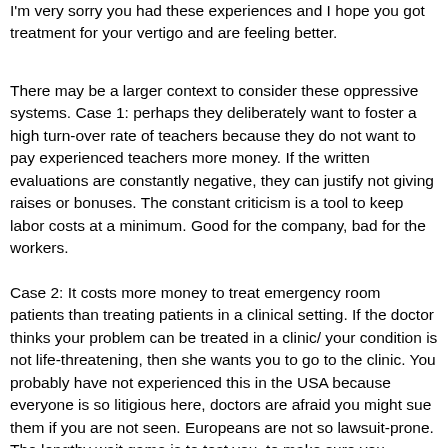I'm very sorry you had these experiences and I hope you got treatment for your vertigo and are feeling better.
There may be a larger context to consider these oppressive systems. Case 1: perhaps they deliberately want to foster a high turn-over rate of teachers because they do not want to pay experienced teachers more money. If the written evaluations are constantly negative, they can justify not giving raises or bonuses. The constant criticism is a tool to keep labor costs at a minimum. Good for the company, bad for the workers.
Case 2: It costs more money to treat emergency room patients than treating patients in a clinical setting. If the doctor thinks your problem can be treated in a clinic/ your condition is not life-threatening, then she wants you to go to the clinic. You probably have not experienced this in the USA because everyone is so litigious here, doctors are afraid you might sue them if you are not seen. Europeans are not so lawsuit-prone. The lengthy wait game is to test you, to make sure you REALLY want to see the doctor, and they are hoping you will be impatient enough to leave and go elsewhere. I strongly suggest you get a family practice physician while you are in Prague. At the very least, if you